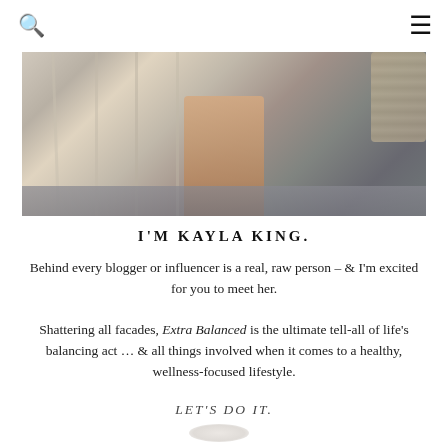[Figure (photo): Photo of a person's legs standing near a railing/window area, cropped from mid-torso down, wearing heels]
I'M KAYLA KING.
Behind every blogger or influencer is a real, raw person – & I'm excited for you to meet her.
Shattering all facades, Extra Balanced is the ultimate tell-all of life's balancing act … & all things involved when it comes to a healthy, wellness-focused lifestyle.
LET'S DO IT.